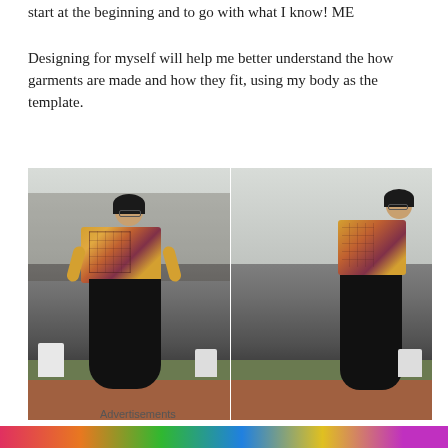start at the beginning and to go with what I know! ME
Designing for myself will help me better understand the how garments are made and how they fit, using my body as the template.
[Figure (photo): Two side-by-side photos of a woman wearing a colorful crocheted sweater (yellow, orange, and purple grid pattern) with black trousers, standing outdoors with bare trees and white garden chairs in the background. Left photo is front view, right photo is side/back view.]
Advertisements